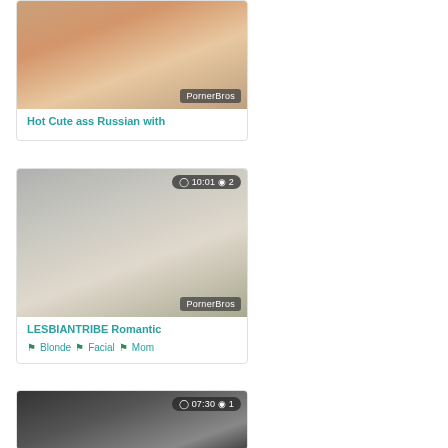[Figure (photo): Video thumbnail showing two people on a white couch, watermark PornerBros]
Hot Cute ass Russian with
[Figure (photo): Video thumbnail showing two women on a bed, duration 10:01, views 2, watermark PornerBros]
LESBIANTRIBE Romantic
Blonde  Facial  Mom
[Figure (photo): Video thumbnail showing a woman, duration 07:30, views 1]